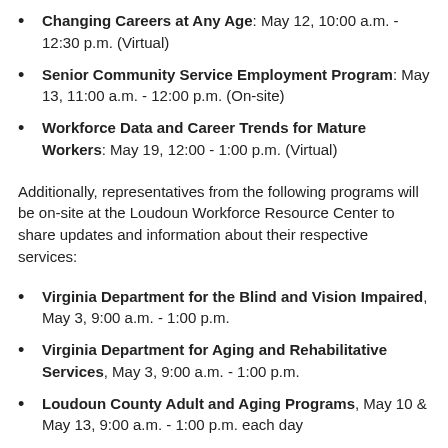Changing Careers at Any Age: May 12, 10:00 a.m. - 12:30 p.m. (Virtual)
Senior Community Service Employment Program: May 13, 11:00 a.m. - 12:00 p.m. (On-site)
Workforce Data and Career Trends for Mature Workers: May 19, 12:00 - 1:00 p.m. (Virtual)
Additionally, representatives from the following programs will be on-site at the Loudoun Workforce Resource Center to share updates and information about their respective services:
Virginia Department for the Blind and Vision Impaired, May 3, 9:00 a.m. - 1:00 p.m.
Virginia Department for Aging and Rehabilitative Services, May 3, 9:00 a.m. - 1:00 p.m.
Loudoun County Adult and Aging Programs, May 10 & May 13, 9:00 a.m. - 1:00 p.m. each day
The Loudoun Workforce Resource Center provides no-cost resources and equipment to job seekers and